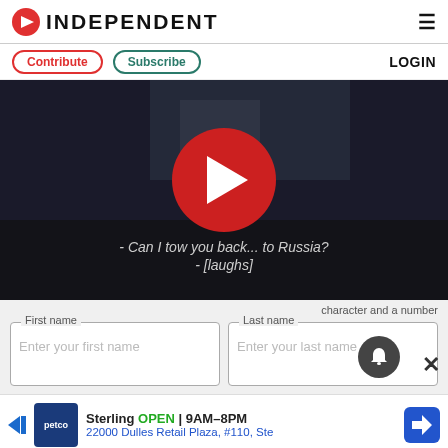INDEPENDENT
Contribute | Subscribe | LOGIN
[Figure (screenshot): Video player showing a dark outdoor scene with a red play button circle in the center. Subtitle text reads: - Can I tow you back... to Russia? - [laughs]]
character and a number
First name — Enter your first name | Last name — Enter your last name
[Figure (other): Advertisement for Petco store in Sterling. OPEN 9AM-8PM. 22000 Dulles Retail Plaza, #110, Ste]